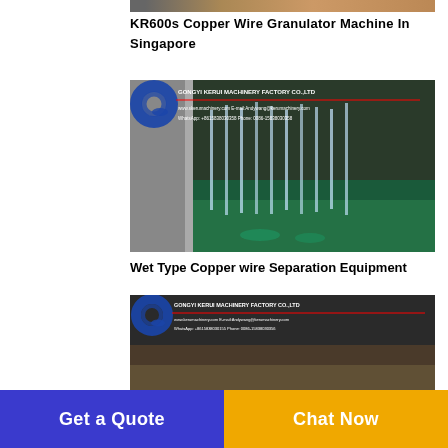[Figure (photo): Partial top image of copper wire granulator machine in Singapore, cropped at top]
KR600s Copper Wire Granulator Machine In Singapore
[Figure (photo): Wet type copper wire separation equipment showing water streams separating copper wire, with Gongyi Kerui Machinery Factory Co., Ltd watermark logo]
Wet Type Copper wire Separation Equipment
[Figure (photo): Another copper wire separation equipment photo with Gongyi Kerui Machinery Factory watermark, partially visible]
Get a Quote  |  Chat Now